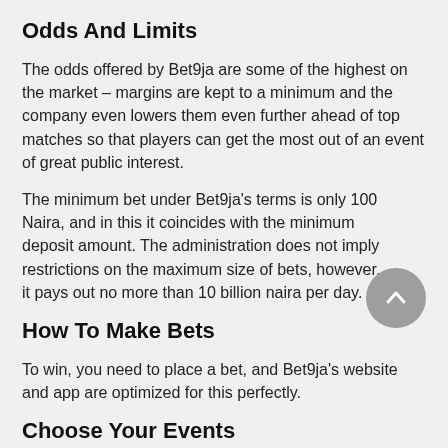Odds And Limits
The odds offered by Bet9ja are some of the highest on the market – margins are kept to a minimum and the company even lowers them even further ahead of top matches so that players can get the most out of an event of great public interest.
The minimum bet under Bet9ja's terms is only 100 Naira, and in this it coincides with the minimum deposit amount. The administration does not imply restrictions on the maximum size of bets, however, it pays out no more than 10 billion naira per day.
How To Make Bets
To win, you need to place a bet, and Bet9ja's website and app are optimized for this perfectly.
Choose Your Events